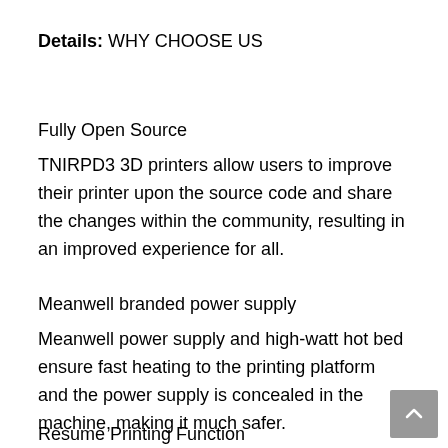Details: WHY CHOOSE US
Fully Open Source
TNIRPD3 3D printers allow users to improve their printer upon the source code and share the changes within the community, resulting in an improved experience for all.
Meanwell branded power supply
Meanwell power supply and high-watt hot bed ensure fast heating to the printing platform and the power supply is concealed in the machine, making it much safer.
Resume Printing Function